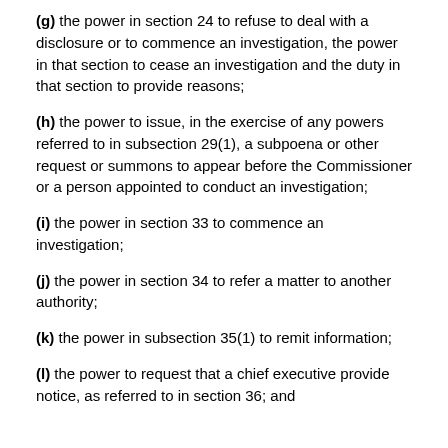(g) the power in section 24 to refuse to deal with a disclosure or to commence an investigation, the power in that section to cease an investigation and the duty in that section to provide reasons;
(h) the power to issue, in the exercise of any powers referred to in subsection 29(1), a subpoena or other request or summons to appear before the Commissioner or a person appointed to conduct an investigation;
(i) the power in section 33 to commence an investigation;
(j) the power in section 34 to refer a matter to another authority;
(k) the power in subsection 35(1) to remit information;
(l) the power to request that a chief executive provide notice, as referred to in section 36; and